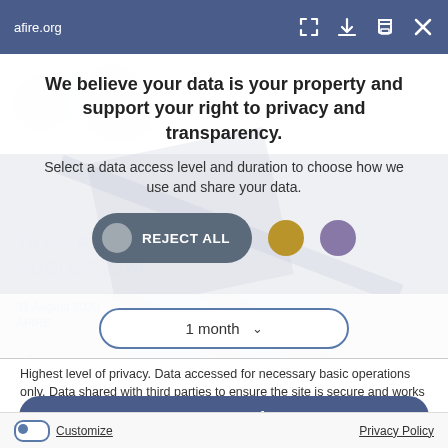afire.org
We believe your data is your property and support your right to privacy and transparency.
Select a data access level and duration to choose how we use and share your data.
[Figure (screenshot): REJECT ALL button (dark grey pill with light grey circle on left), a gold circle button, and a purple circle button]
[Figure (screenshot): Dropdown selector showing '1 month' with chevron arrow]
Highest level of privacy. Data accessed for necessary basic operations only. Data shared with third parties to ensure the site is secure and works on your device
[Figure (screenshot): Save my preferences button (dark blue pill, year label 2020 on left)]
Customize    Privacy Policy